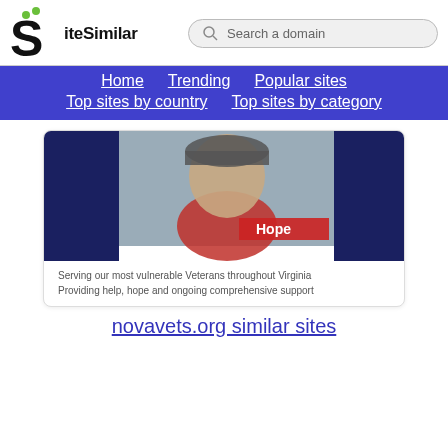[Figure (logo): SiteSimilar logo: stylized S with green dots above, beside bold text 'iteSimilar']
[Figure (other): Search box with magnifying glass icon and placeholder text 'Search a domain']
Home  Trending  Popular sites  Top sites by country  Top sites by category
[Figure (screenshot): Screenshot of novavets.org showing an elderly veteran in a red jacket and cap with the word 'Hope' overlaid, on a dark blue background]
Serving our most vulnerable Veterans throughout Virginia Providing help, hope and ongoing comprehensive support
novavets.org similar sites